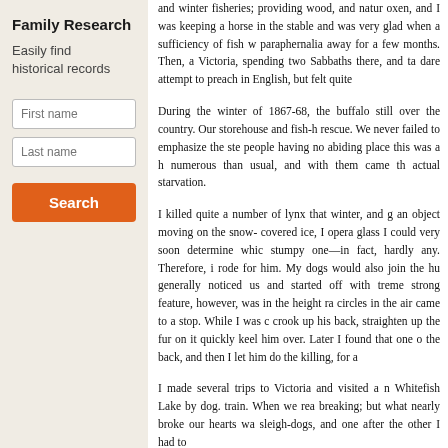Family Research
Easily find historical records
First name
Last name
Search
and winter fisheries; providing wood, and natur oxen, and I was keeping a horse in the stable and was very glad when a sufficiency of fish w paraphernalia away for a few months. Then, a Victoria, spending two Sabbaths there, and ta dare attempt to preach in English, but felt quite
During the winter of 1867-68, the buffalo still over the country. Our storehouse and fish-h rescue. We never failed to emphasize the ste people having no abiding place this was a h numerous than usual, and with them came th actual starvation.
I killed quite a number of lynx that winter, and an object moving on the snow- covered ice, I opera glass I could very soon determine whic stumpy one—in fact, hardly any. Therefore, i rode for him. My dogs would also join the hu generally noticed us and started off with treme strong feature, however, was in the height ra circles in the air came to a stop. While I was crook up his back, straighten up the fur on it quickly keel him over. Later I found that one o the back, and then I let him do the killing, for a
I made several trips to Victoria and visited a n Whitefish Lake by dog. train. When we rea breaking; but what nearly broke our hearts wa sleigh-dogs, and one after the other I had to